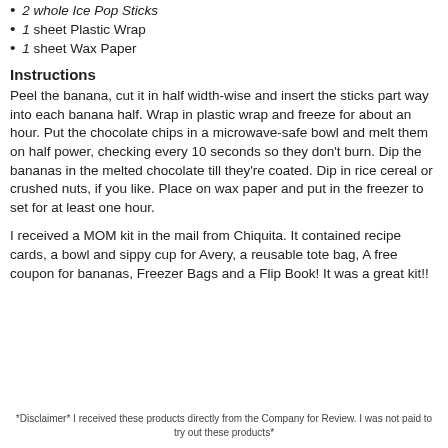2 whole Ice Pop Sticks
1 sheet Plastic Wrap
1 sheet Wax Paper
Instructions
Peel the banana, cut it in half width-wise and insert the sticks part way into each banana half. Wrap in plastic wrap and freeze for about an hour. Put the chocolate chips in a microwave-safe bowl and melt them on half power, checking every 10 seconds so they don't burn. Dip the bananas in the melted chocolate till they're coated. Dip in rice cereal or crushed nuts, if you like. Place on wax paper and put in the freezer to set for at least one hour.
I received a MOM kit in the mail from Chiquita. It contained recipe cards, a bowl and sippy cup for Avery, a reusable tote bag, A free coupon for bananas, Freezer Bags and a Flip Book! It was a great kit!!
*Disclaimer* I received these products directly from the Company for Review. I was not paid to try out these products*